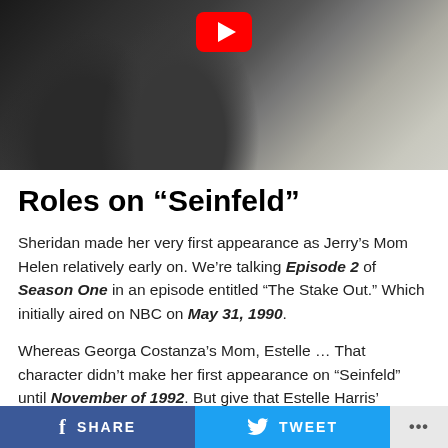[Figure (screenshot): Video thumbnail showing people from Seinfeld TV show with a YouTube play button overlay]
Roles on “Seinfeld”
Sheridan made her very first appearance as Jerry’s Mom Helen relatively early on. We’re talking Episode 2 of Season One in an episode entitled “The Stake Out.” Which initially aired on NBC on May 31, 1990.
Whereas Georga Costanza’s Mom, Estelle … That character didn’t make her first appearance on “Seinfeld” until November of 1992. But give that Estelle Harris’ entrance into this by-then-hit sitcom came with “The
SHARE   TWEET   …